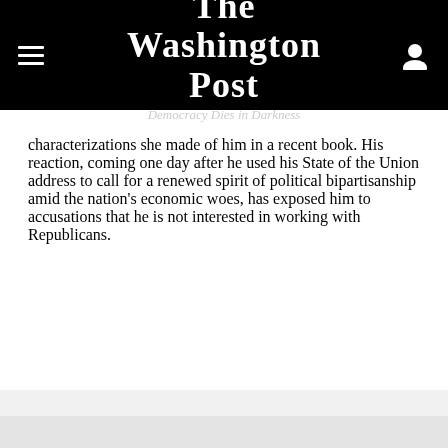The Washington Post — Democracy Dies in Darkness
characterizations she made of him in a recent book. His reaction, coming one day after he used his State of the Union address to call for a renewed spirit of political bipartisanship amid the nation's economic woes, has exposed him to accusations that he is not interested in working with Republicans.